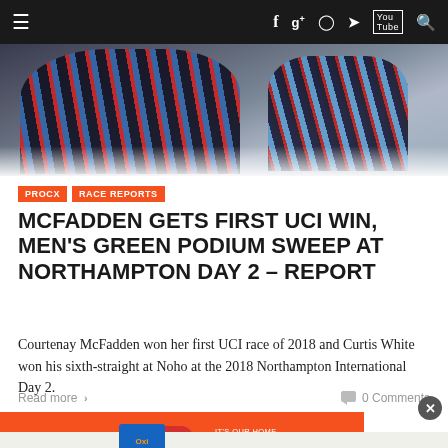≡  f  g+  ◉  🐦  YouTube  🔍
[Figure (photo): Cyclist wearing a colorful jersey with striped sleeves, close-up shot during a cyclocross race]
PROCX  RACE REPORTS
MCFADDEN GETS FIRST UCI WIN, MEN'S GREEN PODIUM SWEEP AT NORTHAMPTON DAY 2 – REPORT
Courtenay McFadden won her first UCI race of 2018 and Curtis White won his sixth-straight at Noho at the 2018 Northampton International Day 2.
Read more  ›    🗨 0 Comments
[Figure (photo): Sam's Club advertisement for Tide detergent featuring 'Wash in cold. Save up to $150 a year*' promotion with a Shop Now button]